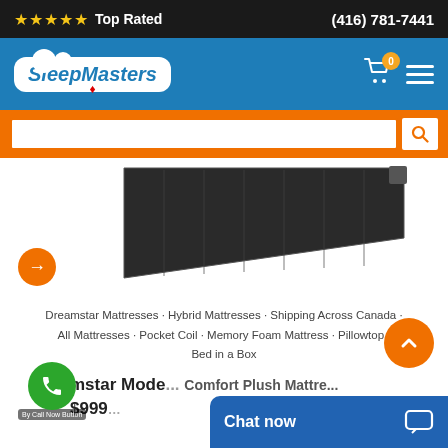★★★★★ Top Rated   (416) 781-7441
[Figure (logo): SleepMasters Canada logo with cloud graphic and maple leaf on blue navigation bar]
[Figure (screenshot): Orange search bar with white input field and search button]
[Figure (photo): Dark grey mattress product photo showing top corner of mattress]
Dreamstar Mattresses · Hybrid Mattresses · Shipping Across Canada · All Mattresses · Pocket Coil · Memory Foam Mattress · Pillowtop · Bed in a Box
mstar Mode... Comfort Plush Mattre...
$999